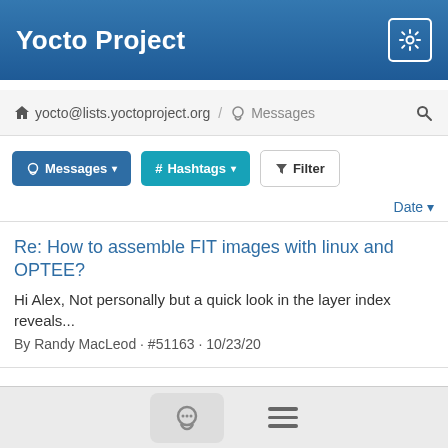Yocto Project
yocto@lists.yoctoproject.org / Messages
Messages ▾  # Hashtags ▾  Filter
Date ▾
Re: How to assemble FIT images with linux and OPTEE?
Hi Alex, Not personally but a quick look in the layer index reveals...
By Randy MacLeod · #51163 · 10/23/20
Re: [OE-core] Let me tell you how I really feel. Zero filter. If you need meta-python2, you need to